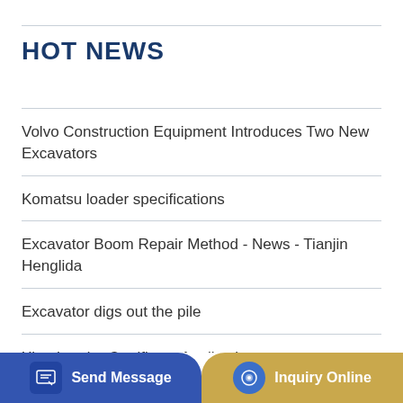HOT NEWS
Volvo Construction Equipment Introduces Two New Excavators
Komatsu loader specifications
Excavator Boom Repair Method - News - Tianjin Henglida
Excavator digs out the pile
Xian Loader Certificate Application
China Zl30 3ton Wheel Loader with Timber Clamp